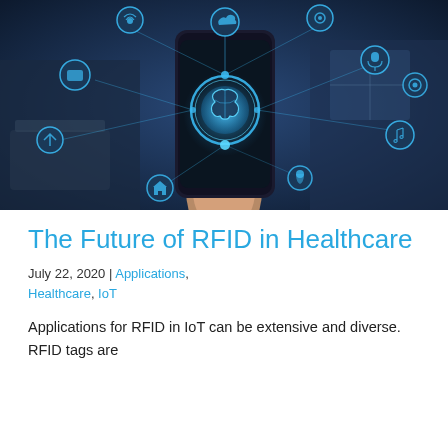[Figure (photo): A hand holding a smartphone with a glowing brain/AI icon on the screen, surrounded by floating IoT device icons connected by glowing lines, set against a blurred indoor background. The image conveys IoT and AI connectivity themes.]
The Future of RFID in Healthcare
July 22, 2020 | Applications, Healthcare, IoT
Applications for RFID in IoT can be extensive and diverse. RFID tags are